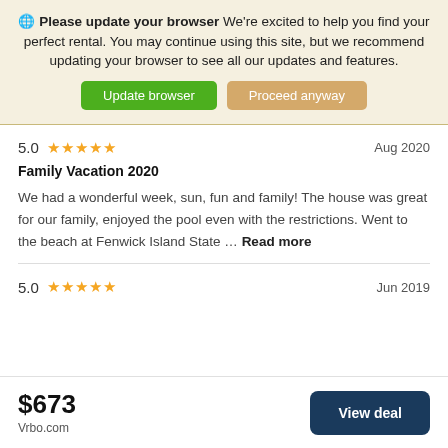Please update your browser We're excited to help you find your perfect rental. You may continue using this site, but we recommend updating your browser to see all our updates and features.
Update browser | Proceed anyway
5.0 ★★★★★  Aug 2020
Family Vacation 2020
We had a wonderful week, sun, fun and family! The house was great for our family, enjoyed the pool even with the restrictions. Went to the beach at Fenwick Island State … Read more
5.0 ★★★★★  Jun 2019
$673 Vrbo.com
View deal